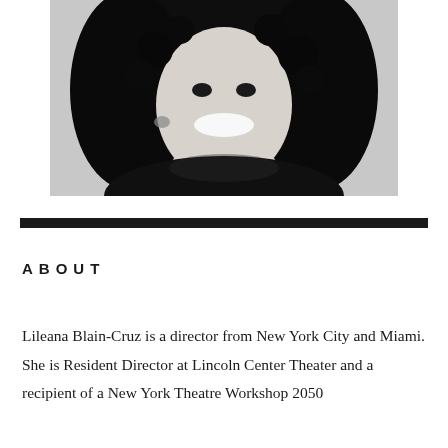[Figure (photo): Black and white portrait photograph of Lileana Blain-Cruz, a woman with curly hair, smiling broadly, wearing a black top and earrings.]
ABOUT
Lileana Blain-Cruz is a director from New York City and Miami. She is Resident Director at Lincoln Center Theater and a recipient of a New York Theatre Workshop 2050